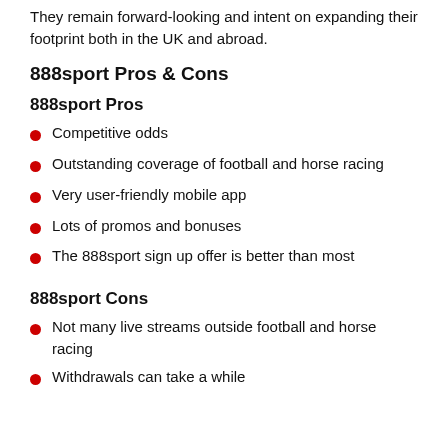They remain forward-looking and intent on expanding their footprint both in the UK and abroad.
888sport Pros & Cons
888sport Pros
Competitive odds
Outstanding coverage of football and horse racing
Very user-friendly mobile app
Lots of promos and bonuses
The 888sport sign up offer is better than most
888sport Cons
Not many live streams outside football and horse racing
Withdrawals can take a while